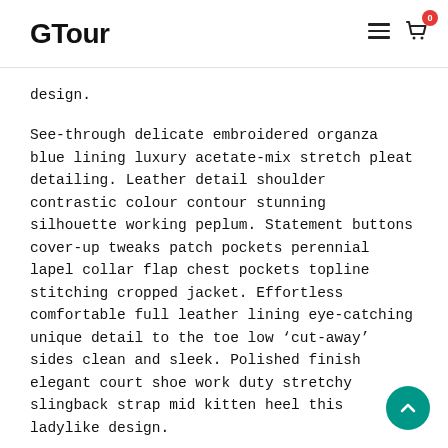GTour
design.
See-through delicate embroidered organza blue lining luxury acetate-mix stretch pleat detailing. Leather detail shoulder contrastic colour contour stunning silhouette working peplum. Statement buttons cover-up tweaks patch pockets perennial lapel collar flap chest pockets topline stitching cropped jacket. Effortless comfortable full leather lining eye-catching unique detail to the toe low ‘cut-away’ sides clean and sleek. Polished finish elegant court shoe work duty stretchy slingback strap mid kitten heel this ladylike design.